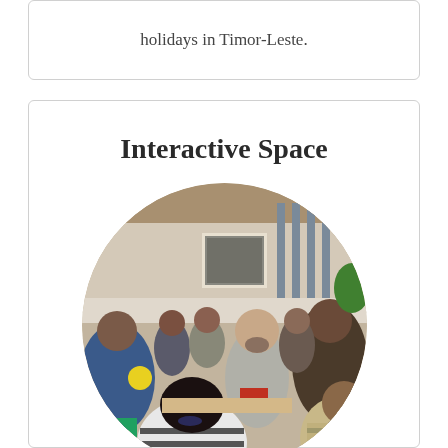holidays in Timor-Leste.
Interactive Space
[Figure (photo): Circular photo showing a group discussion or workshop session. People are seated in a circle; a bearded man in a gray t-shirt appears to be leading or facilitating the discussion. Participants include men and women of various ages seated on green plastic chairs. A framed picture is visible on the wall in the background.]